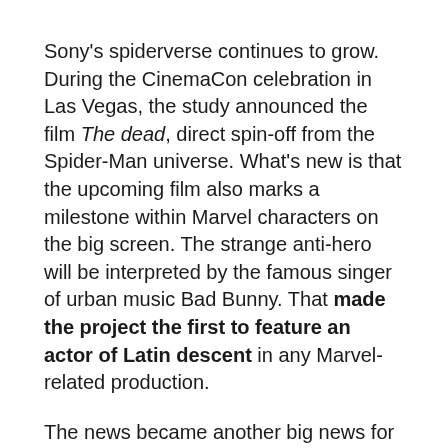Sony's spiderverse continues to grow. During the CinemaCon celebration in Las Vegas, the study announced the film The dead, direct spin-off from the Spider-Man universe. What's new is that the upcoming film also marks a milestone within Marvel characters on the big screen. The strange anti-hero will be interpreted by the famous singer of urban music Bad Bunny. That made the project the first to feature an actor of Latin descent in any Marvel-related production.
The news became another big news for Sony at the event. Earlier, the studio announced a new sequel to ghost huntersas well as the third film of the saga Venom. The El Muerto